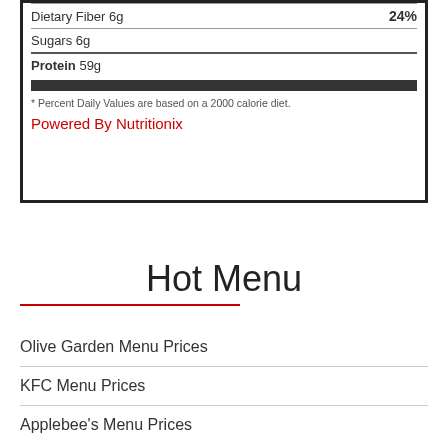| Nutrient | Amount | DV% |
| --- | --- | --- |
| Dietary Fiber 6g |  | 24% |
| Sugars 6g |  |  |
| Protein 59g |  |  |
* Percent Daily Values are based on a 2000 calorie diet.
Powered By Nutritionix
Hot Menu
Olive Garden Menu Prices
KFC Menu Prices
Applebee's Menu Prices